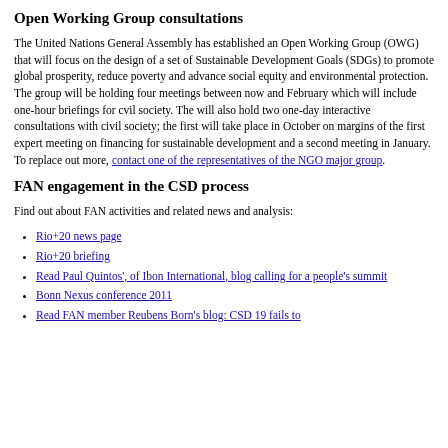Open Working Group consultations
The United Nations General Assembly has established an Open Working Group (OWG) that will focus on the design of a set of Sustainable Development Goals (SDGs) to promote global prosperity, reduce poverty and advance social equity and environmental protection. The group will be holding four meetings between now and February which will include one-hour briefings for cvil society. The will also hold two one-day interactive consultations with civil society; the first will take place in October on margins of the first expert meeting on financing for sustainable development and a second meeting in January. To replace out more, contact one of the representatives of the NGO major group.
FAN engagement in the CSD process
Find out about FAN activities and related news and analysis:
Rio+20 news page
Rio+20 briefing
Read Paul Quintos', of Ibon International, blog calling for a people's summit
Bonn Nexus conference 2011
Read FAN member Reubens Born's blog: CSD 19 fails to